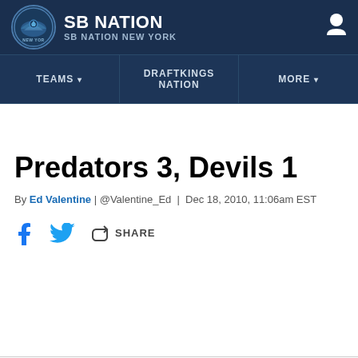[Figure (logo): SB Nation New York logo with circular emblem and site name]
TEAMS ▾  |  DRAFTKINGS NATION  |  MORE ▾
Predators 3, Devils 1
By Ed Valentine | @Valentine_Ed | Dec 18, 2010, 11:06am EST
[Figure (infographic): Social share bar with Facebook, Twitter, and share icons]